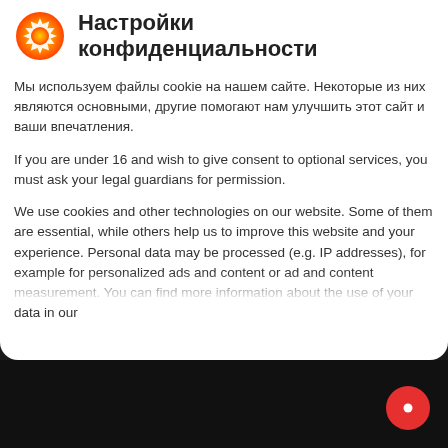Настройки конфиденциальности
Мы используем файлы cookie на нашем сайте. Некоторые из них являются основными, другие помогают нам улучшить этот сайт и ваши впечатления.
If you are under 16 and wish to give consent to optional services, you must ask your legal guardians for permission.
We use cookies and other technologies on our website. Some of them are essential, while others help us to improve this website and your experience. Personal data may be processed (e.g. IP addresses), for example for personalized ads and content or ad and content measurement. You can find more information about the use of your data in our
Essenziell
Externe Medien